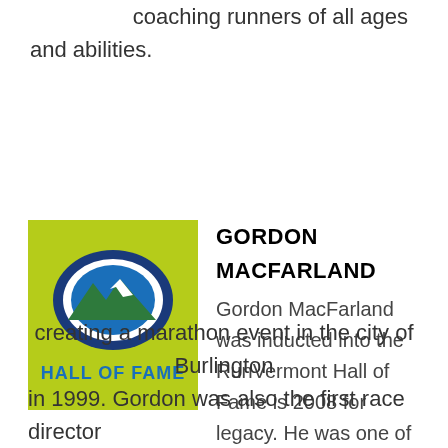coaching runners of all ages and abilities.
[Figure (logo): RunVermont Hall of Fame logo: a lime-green square background with a dark blue oval outline containing a green mountain silhouette on a blue circle. Text 'HALL OF FAME' in bold blue letters below the oval.]
GORDON MACFARLAND
Gordon MacFarland was inducted into the RunVermont Hall of Fame is 2008 for legacy. He was one of five founding members who had the idea of creating a marathon event in the city of Burlington in 1999. Gordon was also the first race director...